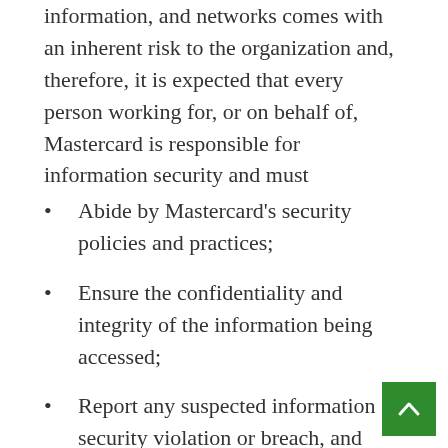information, and networks comes with an inherent risk to the organization and, therefore, it is expected that every person working for, or on behalf of, Mastercard is responsible for information security and must
Abide by Mastercard's security policies and practices;
Ensure the confidentiality and integrity of the information being accessed;
Report any suspected information security violation or breach, and
Complete all periodic mandatory security trainings in accordance with Mastercard's guidelines.